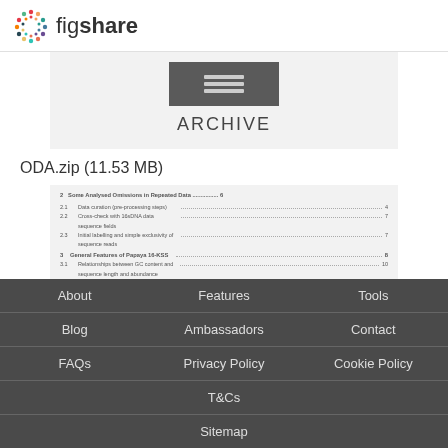[Figure (logo): Figshare logo with colorful circular dot pattern and 'figshare' text]
[Figure (other): Archive icon box (dark gray) with horizontal lines icon above ARCHIVE label text]
ODA.zip (11.53 MB)
[Figure (other): Preview of a document table of contents showing sections 2.1, 2.2, 2.3, section 3, 3.1, section 4, 4.1 with dotted leaders and page numbers]
About | Features | Tools | Blog | Ambassadors | Contact | FAQs | Privacy Policy | Cookie Policy | T&Cs | Sitemap